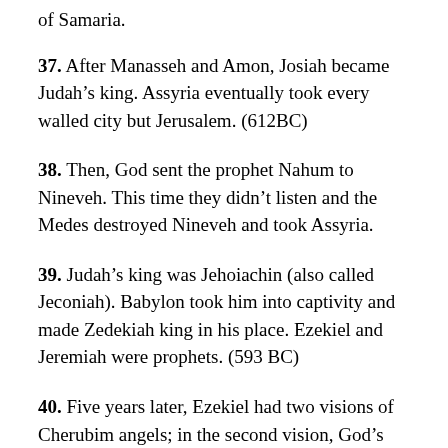of Samaria.
37. After Manasseh and Amon, Josiah became Judah’s king. Assyria eventually took every walled city but Jerusalem. (612BC)
38. Then, God sent the prophet Nahum to Nineveh. This time they didn’t listen and the Medes destroyed Nineveh and took Assyria.
39. Judah’s king was Jehoiachin (also called Jeconiah). Babylon took him into captivity and made Zedekiah king in his place. Ezekiel and Jeremiah were prophets. (593 BC)
40. Five years later, Ezekiel had two visions of Cherubim angels; in the second vision, God’s